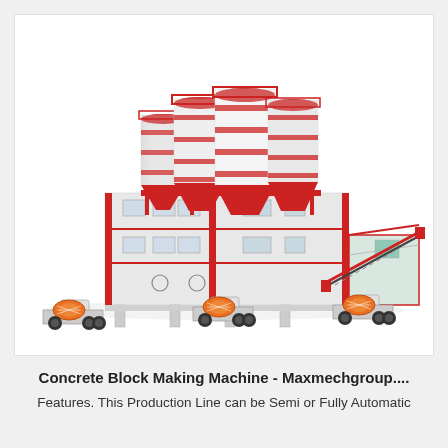[Figure (illustration): 3D render of a concrete batching plant facility with multiple large white and red cylindrical silos on top of a multi-story building structure, with three concrete mixer trucks (orange drum) parked in front and a conveyor belt extending to the right.]
Concrete Block Making Machine - Maxmechgroup....
Features. This Production Line can be Semi or Fully Automatic